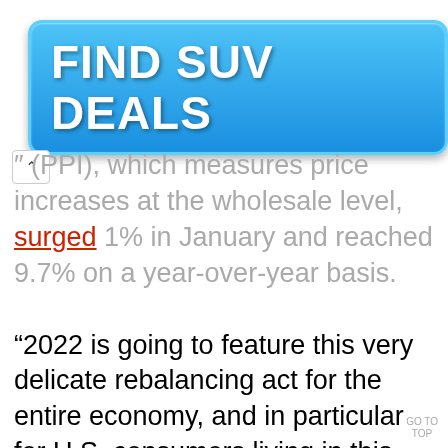[Figure (infographic): Advertisement banner button with blue gradient background and rounded corners reading FIND SUV DEALS in bold white text]
A (PPI), which measures price increases at the wholesale level, surged 1% in January and reached 9.7% on a year-over-year basis.

“2022 is going to feature this very delicate rebalancing act for the entire economy, and in particular for U.S. consumers living in this world where prices are higher and purchasing power is more constrained,” Gregory Daco, chief economist at EY-Parthenon, told The Wall Street Journ…
GO TO TOP